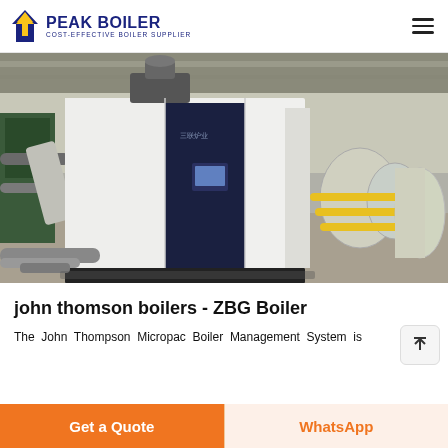PEAK BOILER COST-EFFECTIVE BOILER SUPPLIER
[Figure (photo): Industrial boiler equipment in a factory setting. A large white and dark blue rectangular boiler unit is prominently displayed in the center, with industrial piping and equipment visible in the background.]
john thomson boilers - ZBG Boiler
The John Thompson Micropac Boiler Management System is
Get a Quote
WhatsApp